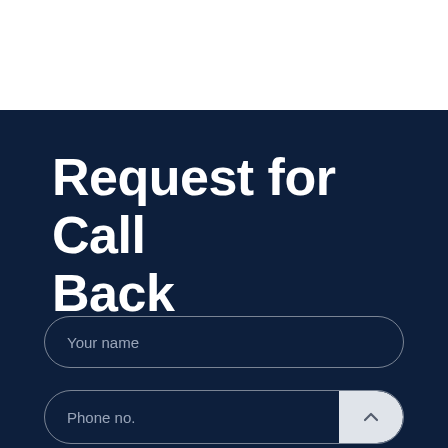Request for Call Back
Your name
Phone no.